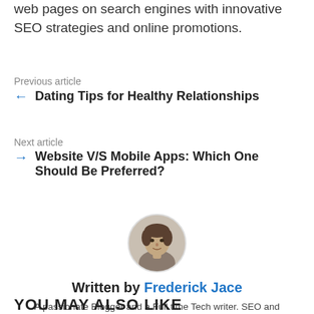web pages on search engines with innovative SEO strategies and online promotions.
Previous article
← Dating Tips for Healthy Relationships
Next article
→ Website V/S Mobile Apps: Which One Should Be Preferred?
[Figure (photo): Circular profile photo of Frederick Jace, a man with dark hair]
Written by Frederick Jace
A passionate Blogger and a Full time Tech writer. SEO and Content Writer Expert since 2015.
YOU MAY ALSO LIKE